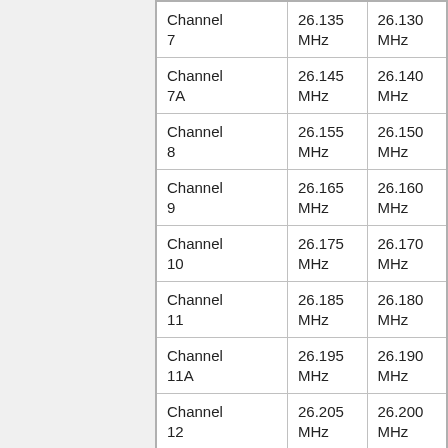| Channel 7 | 26.135 MHz | 26.130 MHz |
| Channel 7A | 26.145 MHz | 26.140 MHz |
| Channel 8 | 26.155 MHz | 26.150 MHz |
| Channel 9 | 26.165 MHz | 26.160 MHz |
| Channel 10 | 26.175 MHz | 26.170 MHz |
| Channel 11 | 26.185 MHz | 26.180 MHz |
| Channel 11A | 26.195 MHz | 26.190 MHz |
| Channel 12 | 26.205 MHz | 26.200 MHz |
| Channel 13 | 26.215 MHz | 26.210 MHz |
| Channel 14 | 26.225 MHz | 26.220 MHz |